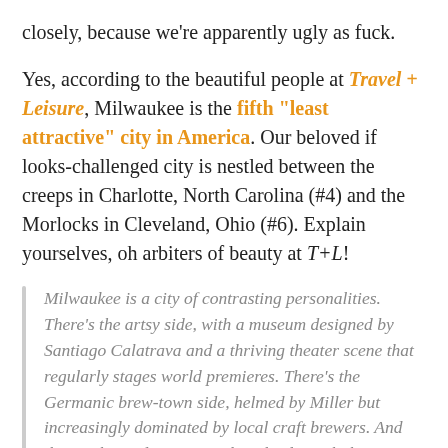closely, because we're apparently ugly as fuck.
Yes, according to the beautiful people at Travel + Leisure, Milwaukee is the fifth "least attractive" city in America. Our beloved if looks-challenged city is nestled between the creeps in Charlotte, North Carolina (#4) and the Morlocks in Cleveland, Ohio (#6). Explain yourselves, oh arbiters of beauty at T+L!
Milwaukee is a city of contrasting personalities. There's the artsy side, with a museum designed by Santiago Calatrava and a thriving theater scene that regularly stages world premieres. There's the Germanic brew-town side, helmed by Miller but increasingly dominated by local craft brewers. And there's the Midwest agricultural side, with the